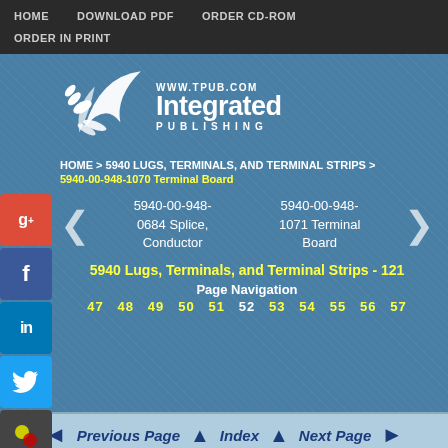HOME   DOWNLOAD PDF   ORDER CD-ROM   ORDER IN PRINT
[Figure (logo): Integrated Publishing logo with bird/wing graphic and text 'WWW.TPUB.COM Integrated PUBLISHING']
HOME > 5940 LUGS, TERMINALS, AND TERMINAL STRIPS > 5940-00-948-1070 Terminal Board
5940-00-948-0684 Splice, Conductor
5940-00-948-1071 Terminal Board
5940 Lugs, Terminals, and Terminal Strips - 121
Page Navigation
47  48  49  50  51  52  53  54  55  56  57
Previous Page   Index   Next Page